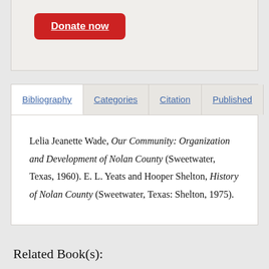[Figure (other): Red rounded rectangle button labeled 'Donate now' with white underlined text]
Bibliography | Categories | Citation | Published
Lelia Jeanette Wade, Our Community: Organization and Development of Nolan County (Sweetwater, Texas, 1960). E. L. Yeats and Hooper Shelton, History of Nolan County (Sweetwater, Texas: Shelton, 1975).
Related Book(s):